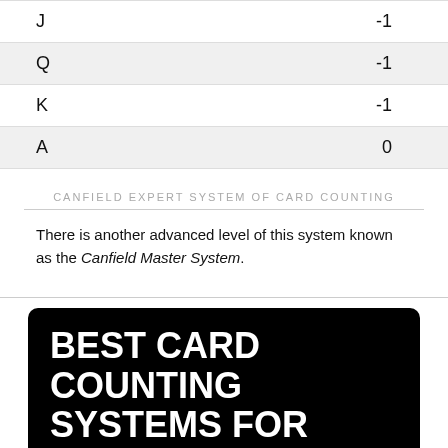| Card | Value |
| --- | --- |
| J | -1 |
| Q | -1 |
| K | -1 |
| A | 0 |
CANFIELD EXPERT SYSTEM OF CARD COUNTING
There is another advanced level of this system known as the Canfield Master System.
BEST CARD COUNTING SYSTEMS FOR NOVICES